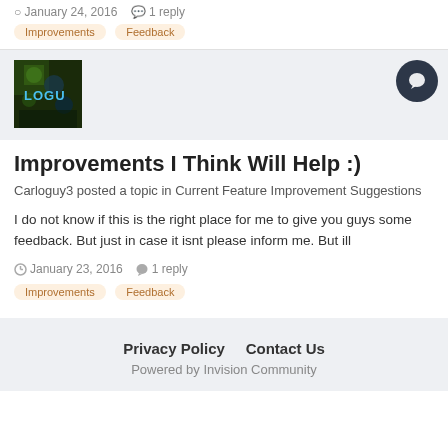January 24, 2016  1 reply
Improvements
Feedback
[Figure (photo): Avatar image showing a dark nature/forest scene with 'LOGU' text overlay in blue]
Improvements I Think Will Help :)
Carloguy3 posted a topic in Current Feature Improvement Suggestions
I do not know if this is the right place for me to give you guys some feedback. But just in case it isnt please inform me. But ill
January 23, 2016  1 reply
Improvements
Feedback
Privacy Policy  Contact Us  Powered by Invision Community